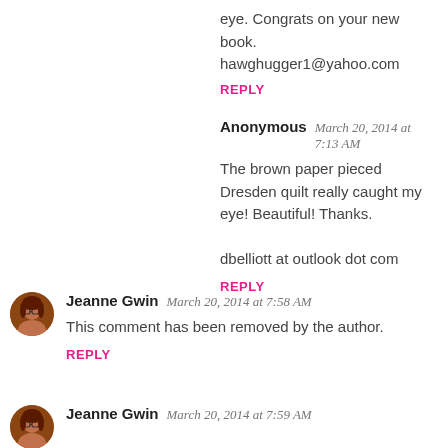eye. Congrats on your new book.
hawghugger1@yahoo.com
REPLY
Anonymous   March 20, 2014 at 7:13 AM
The brown paper pieced Dresden quilt really caught my eye! Beautiful! Thanks.

dbelliott at outlook dot com
REPLY
Jeanne Gwin   March 20, 2014 at 7:58 AM
This comment has been removed by the author.
REPLY
Jeanne Gwin   March 20, 2014 at 7:59 AM